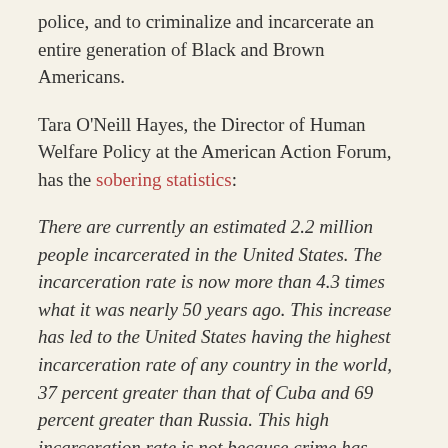police, and to criminalize and incarcerate an entire generation of Black and Brown Americans.
Tara O'Neill Hayes, the Director of Human Welfare Policy at the American Action Forum, has the sobering statistics:
There are currently an estimated 2.2 million people incarcerated in the United States. The incarceration rate is now more than 4.3 times what it was nearly 50 years ago. This increase has led to the United States having the highest incarceration rate of any country in the world, 37 percent greater than that of Cuba and 69 percent greater than Russia. This high incarceration rate is not because crime has increased; in fact, crime rates have declined since the 1990s.